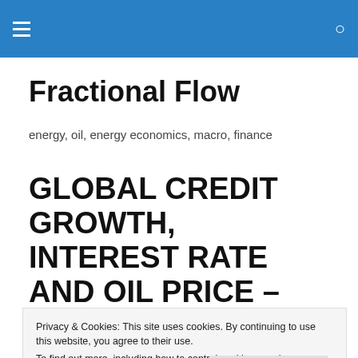Fractional Flow — navigation header with hamburger menu and search icon
Fractional Flow
energy, oil, energy economics, macro, finance
GLOBAL CREDIT GROWTH, INTEREST RATE AND OIL PRICE – ARE THESE
Privacy & Cookies: This site uses cookies. By continuing to use this website, you agree to their use.
To find out more, including how to control cookies, see here: Cookie Policy
[Close and accept]